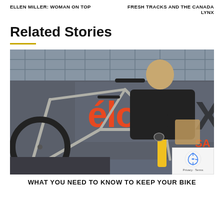ELLEN MILLER: WOMAN ON TOP
FRESH TRACKS AND THE CANADA LYNX
Related Stories
[Figure (photo): A mechanic wearing a black t-shirt works on a mountain bike frame in a bike shop. The shop has a grey banner with orange 'Velo' lettering and shelving with bike accessories in the background.]
WHAT YOU NEED TO KNOW TO KEEP YOUR BIKE